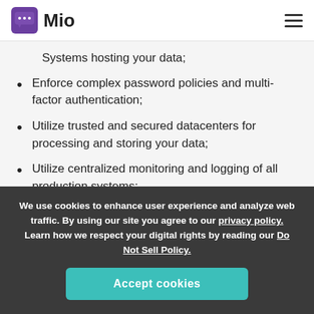Mio
Systems hosting your data;
Enforce complex password policies and multi-factor authentication;
Utilize trusted and secured datacenters for processing and storing your data;
Utilize centralized monitoring and logging of all production systems;
We use cookies to enhance user experience and analyze web traffic. By using our site you agree to our privacy policy. Learn how we respect your digital rights by reading our Do Not Sell Policy.